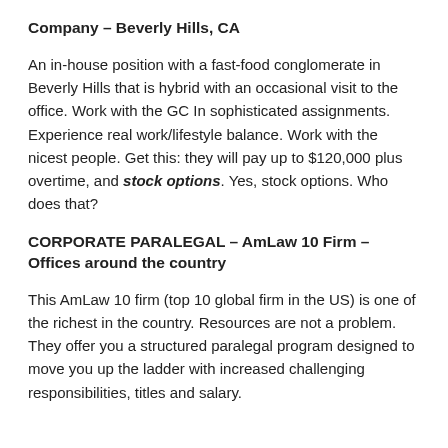Company – Beverly Hills, CA
An in-house position with a fast-food conglomerate in Beverly Hills that is hybrid with an occasional visit to the office. Work with the GC In sophisticated assignments. Experience real work/lifestyle balance. Work with the nicest people. Get this: they will pay up to $120,000 plus overtime, and stock options. Yes, stock options. Who does that?
CORPORATE PARALEGAL – AmLaw 10 Firm – Offices around the country
This AmLaw 10 firm (top 10 global firm in the US) is one of the richest in the country. Resources are not a problem. They offer you a structured paralegal program designed to move you up the ladder with increased challenging responsibilities, titles and salary.